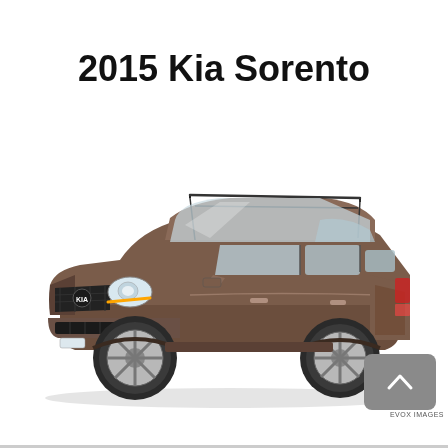2015 Kia Sorento
[Figure (photo): A 2015 Kia Sorento SUV in brown/bronze color, shown in a three-quarter front view with roof rails, silver alloy wheels. White background product/press photo.]
EVOX IMAGES